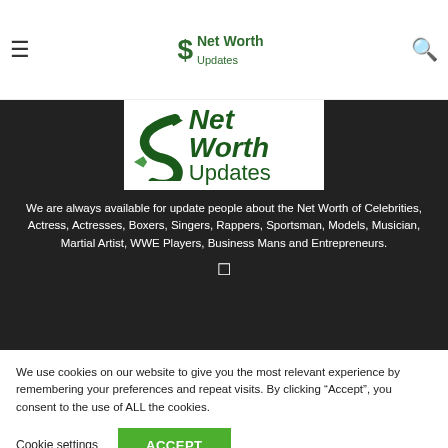Net Worth Updates
[Figure (logo): Net Worth Updates logo with stylized dollar sign and green text on white background]
We are always available for update people about the Net Worth of Celebrities, Actress, Actresses, Boxers, Singers, Rappers, Sportsman, Models, Musician, Martial Artist, WWE Players, Business Mans and Entrepreneurs.
We use cookies on our website to give you the most relevant experience by remembering your preferences and repeat visits. By clicking “Accept”, you consent to the use of ALL the cookies.
Cookie settings  ACCEPT